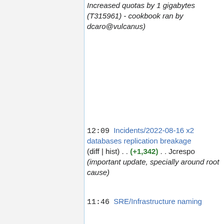Increased quotas by 1 gigabytes (T315961) - cookbook ran by dcaro@vulcanus)
12:09 Incidents/2022-08-16 x2 databases replication breakage (diff | hist) . . (+1,342) . . Jcrespo (important update, specially around root cause)
11:46 SRE/Infrastructure naming